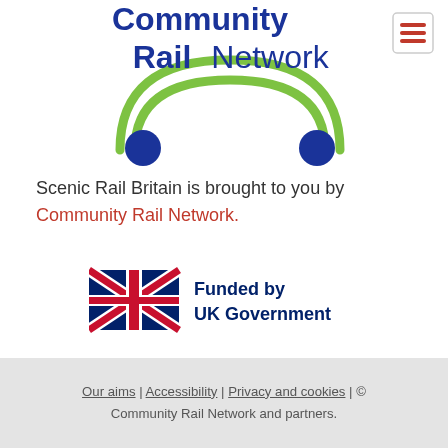[Figure (logo): Community Rail Network logo with green circular arcs and blue dots, text 'Community Rail Network']
[Figure (logo): Hamburger menu icon with three red horizontal lines in a bordered box]
Scenic Rail Britain is brought to you by Community Rail Network.
[Figure (logo): UK Government funded badge: Union Jack flag beside text 'Funded by UK Government' in dark blue]
Our aims | Accessibility | Privacy and cookies | © Community Rail Network and partners.